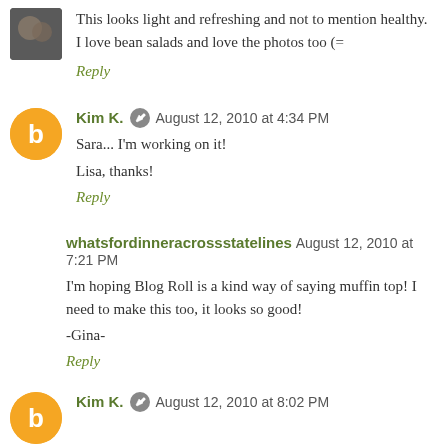This looks light and refreshing and not to mention healthy. I love bean salads and love the photos too (=
Reply
Kim K. August 12, 2010 at 4:34 PM
Sara... I'm working on it!

Lisa, thanks!
Reply
whatsfordinneracrossstatelines August 12, 2010 at 7:21 PM
I'm hoping Blog Roll is a kind way of saying muffin top! I need to make this too, it looks so good!
-Gina-
Reply
Kim K. August 12, 2010 at 8:02 PM